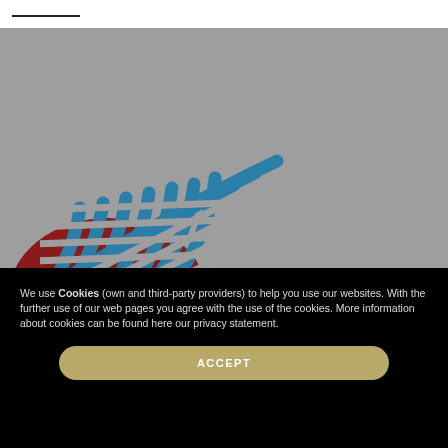[Figure (logo): Logo with concentric arc stripes in blue/teal over a dark red semicircle, on a grey background. Two sets of striped fan arcs radiating upward and to the right.]
We use Cookies (own and third-party providers) to help you use our websites. With the further use of our web pages you agree with the use of the cookies. More information about cookies can be found here our privacy statement.
ACCEPT